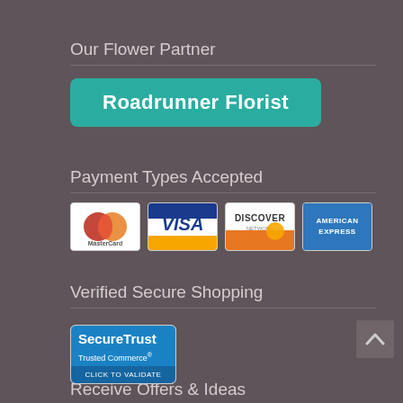Our Flower Partner
[Figure (other): Roadrunner Florist teal button/badge]
Payment Types Accepted
[Figure (other): Payment card logos: MasterCard, Visa, Discover Network, American Express]
Verified Secure Shopping
[Figure (other): SecureTrust Trusted Commerce CLICK TO VALIDATE badge]
Receive Offers & Ideas